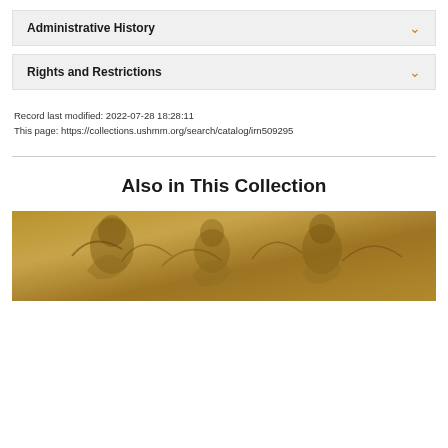Administrative History
Rights and Restrictions
Record last modified: 2022-07-28 18:28:11
This page: https://collections.ushmm.org/search/catalog/irn509295
Also in This Collection
[Figure (photo): Sepia-toned historical illustration or drawing showing figures, partial view at bottom of page]